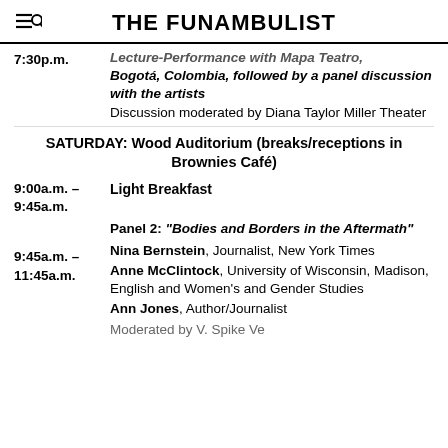THE FUNAMBULIST
7:30p.m. — Lecture-Performance with Mapa Teatro, Bogotá, Colombia, followed by a panel discussion with the artists. Discussion moderated by Diana Taylor Miller Theater
SATURDAY: Wood Auditorium (breaks/receptions in Brownies Café)
9:00a.m. – 9:45a.m. — Light Breakfast
9:45a.m. – 11:45a.m. — Panel 2: 'Bodies and Borders in the Aftermath'. Nina Bernstein, Journalist, New York Times. Anne McClintock, University of Wisconsin, Madison, English and Women's and Gender Studies. Ann Jones, Author/Journalist
Moderated by V. Spike Vektorberg (truncated)